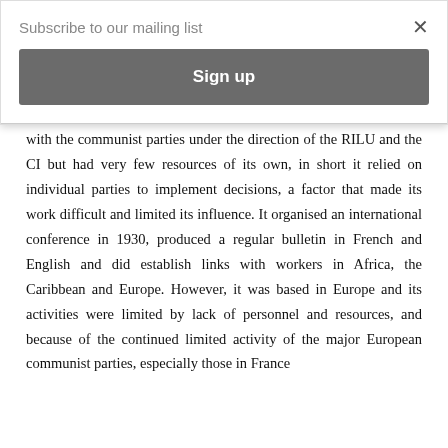Subscribe to our mailing list
Sign up
with the communist parties under the direction of the RILU and the CI but had very few resources of its own, in short it relied on individual parties to implement decisions, a factor that made its work difficult and limited its influence. It organised an international conference in 1930, produced a regular bulletin in French and English and did establish links with workers in Africa, the Caribbean and Europe. However, it was based in Europe and its activities were limited by lack of personnel and resources, and because of the continued limited activity of the major European communist parties, especially those in France